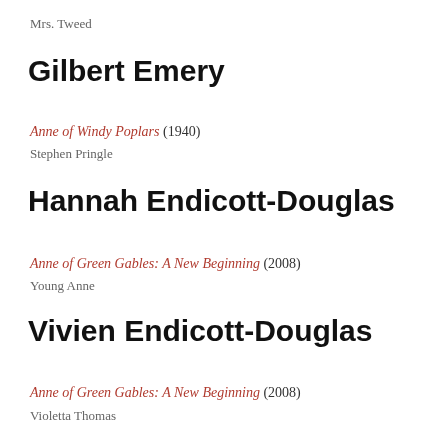Mrs. Tweed
Gilbert Emery
Anne of Windy Poplars (1940)
Stephen Pringle
Hannah Endicott-Douglas
Anne of Green Gables: A New Beginning (2008)
Young Anne
Vivien Endicott-Douglas
Anne of Green Gables: A New Beginning (2008)
Violetta Thomas